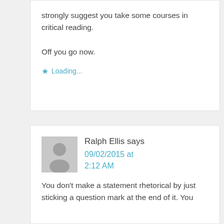strongly suggest you take some courses in critical reading.

Off you go now.
★ Loading...
Ralph Ellis says 09/02/2015 at 2:12 AM
You don't make a statement rhetorical by just sticking a question mark at the end of it. You